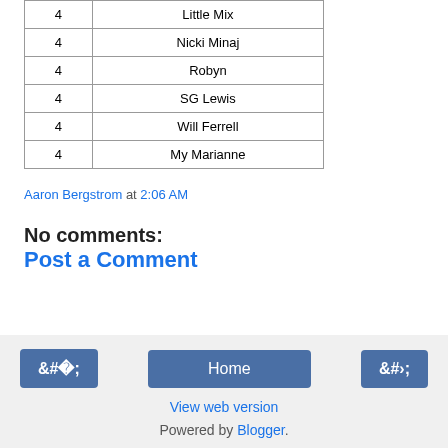|  |  |
| --- | --- |
| 4 | Little Mix |
| 4 | Nicki Minaj |
| 4 | Robyn |
| 4 | SG Lewis |
| 4 | Will Ferrell |
| 4 | My Marianne |
Aaron Bergstrom at 2:06 AM
No comments:
Post a Comment
◁  Home  ▷  View web version  Powered by Blogger.